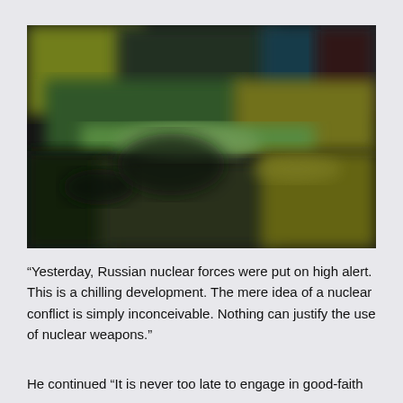[Figure (photo): A blurred photograph of what appears to be a conference or assembly room with people seated at tables, with green, yellow, and dark colors visible.]
“Yesterday, Russian nuclear forces were put on high alert. This is a chilling development. The mere idea of a nuclear conflict is simply inconceivable. Nothing can justify the use of nuclear weapons.”
He continued “It is never too late to engage in good-faith